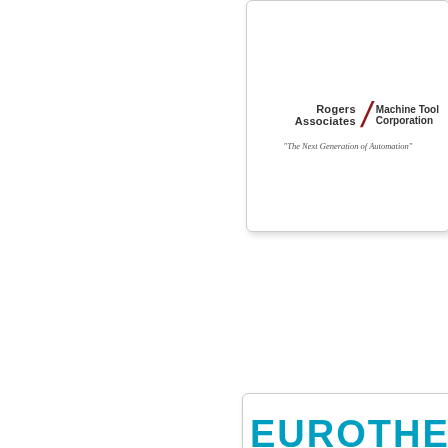[Figure (logo): Rogers Associates / Machine Tool Corporation logo with tagline 'The Next Generation of Automation']
[Figure (logo): Phoenix Contact logo in black and white]
[Figure (logo): Eurotherm logo partially visible at bottom]